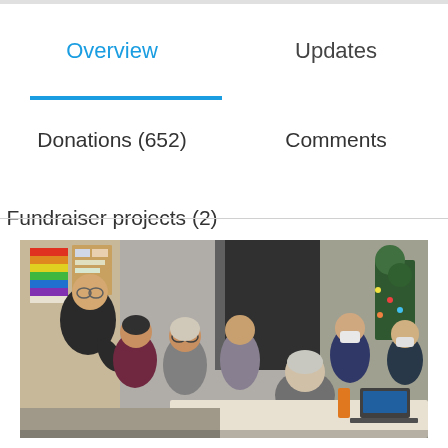Overview
Updates
Donations (652)
Comments
Fundraiser projects (2)
[Figure (photo): Group of people seated in a circle or around a table in an indoor community space. A man in a dark t-shirt is leaning over to comfort or speak with a woman. Several people are wearing face masks. A rainbow pride flag and a bulletin board are visible in the background.]